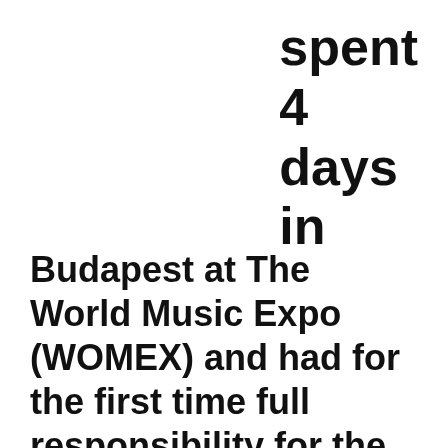spent
4
days
in
Budapest at The World Music Expo (WOMEX) and had for the first time full responsibility for the Swedish stand. About 80 Swedish delegates where there with us! A lot of business cards where handed out. Read more in Musikindustrin (in Swedish) > and check out